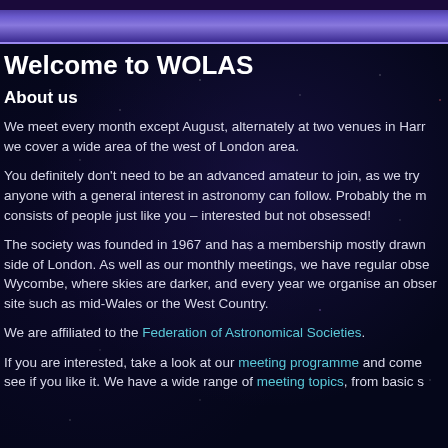Welcome to WOLAS
About us
We meet every month except August, alternately at two venues in Harr we cover a wide area of the west of London area.
You definitely don't need to be an advanced amateur to join, as we try anyone with a general interest in astronomy can follow. Probably the m consists of people just like you – interested but not obsessed!
The society was founded in 1967 and has a membership mostly drawn side of London. As well as our monthly meetings, we have regular obse Wycombe, where skies are darker, and every year we organise an obser site such as mid-Wales or the West Country.
We are affiliated to the Federation of Astronomical Societies.
If you are interested, take a look at our meeting programme and come see if you like it. We have a wide range of meeting topics, from basic s